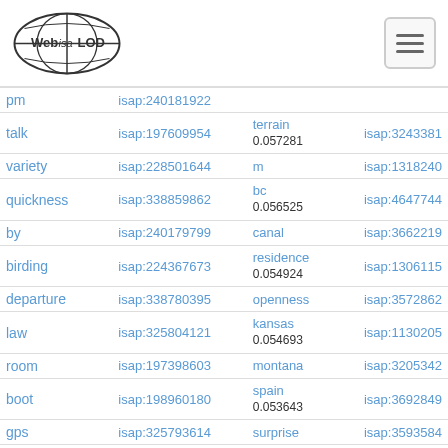Web isa LOD
| word | isap_id | concept/score | isap_id2 |
| --- | --- | --- | --- |
| pm | isap:240181922 |  |  |
| talk | isap:197609954 | terrain
0.057281 | isap:3243381 |
| variety | isap:228501644 | m | isap:1318240 |
| quickness | isap:338859862 | bc
0.056525 | isap:4647744 |
| by | isap:240179799 | canal | isap:3662219 |
| birding | isap:224367673 | residence
0.054924 | isap:1306115 |
| departure | isap:338780395 | openness | isap:3572862 |
| law | isap:325804121 | kansas
0.054693 | isap:1130205 |
| room | isap:197398603 | montana | isap:3205342 |
| boot | isap:198960180 | spain
0.053643 | isap:3692849 |
| gps | isap:325793614 | surprise | isap:3593584 |